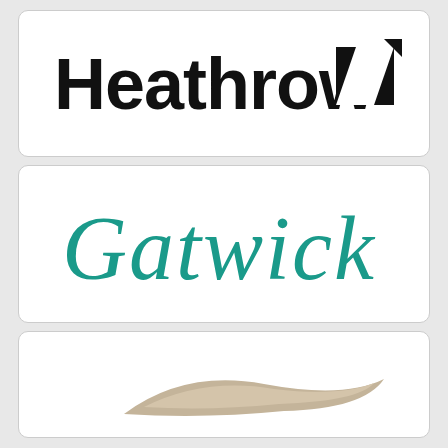[Figure (logo): Heathrow Airport logo: bold black sans-serif text 'Heathrow' with a black square icon containing a white diagonal slash and small triangle arrow]
[Figure (logo): Gatwick Airport logo: italic teal/turquoise cursive script text 'Gatwick']
[Figure (logo): Partial logo at bottom showing a curved tan/beige swoosh shape, airport brand mark partially visible]